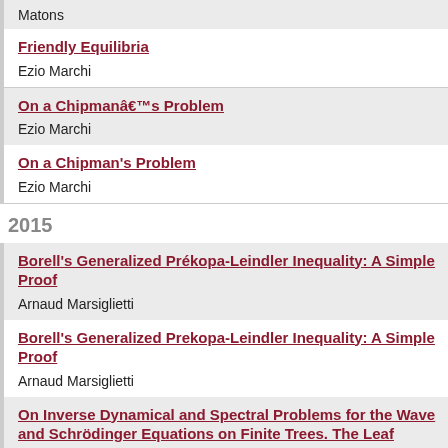Matons
Friendly Equilibria
Ezio Marchi
On a Chipmanâs Problem
Ezio Marchi
On a Chipman's Problem
Ezio Marchi
2015
Borell's Generalized Prékopa-Leindler Inequality: A Simple Proof
Arnaud Marsiglietti
Borell's Generalized Prekopa-Leindler Inequality: A Simple Proof
Arnaud Marsiglietti
On Inverse Dynamical and Spectral Problems for the Wave and Schrödinger Equations on Finite Trees. The Leaf